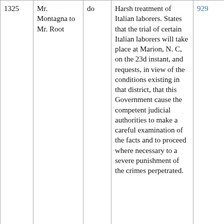| No. | From/To | Date | Subject | Page |
| --- | --- | --- | --- | --- |
| 1325 | Mr. Montagna to Mr. Root | do | Harsh treatment of Italian laborers. States that the trial of certain Italian laborers will take place at Marion, N. C, on the 23d instant, and requests, in view of the conditions existing in that district, that this Government cause the competent judicial authorities to make a careful examination of the facts and to proceed where necessary to a severe punishment of the crimes perpetrated. | 929 |
|  | Same to same | July 24 | Marriage of Italians to Americans in the United States. States that marriage is valid in Italy if solemnized in accordance with the law of this country and that | 963 |